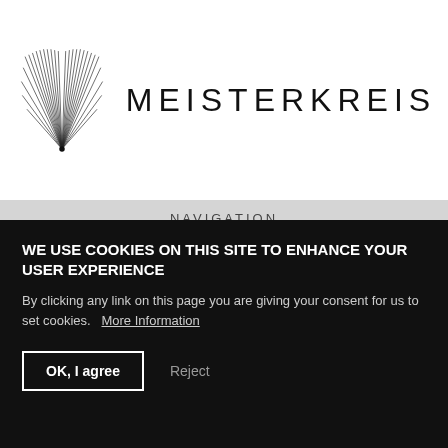[Figure (logo): Meisterkreis logo: stylized feather/wing SVG graphic on left, text MEISTERKREIS on right in wide-spaced sans-serif]
NAVIGATION
[Figure (logo): Universität der Künste Berlin logo: red square with white dots grid pattern, followed by text 'Universität der Künste Berlin']
[Figure (illustration): Partial view of a colorful abstract poster with purple and orange shapes, text 'OLIVIER' visible]
Ecole Nationale Supérieure des
WE USE COOKIES ON THIS SITE TO ENHANCE YOUR USER EXPERIENCE
By clicking any link on this page you are giving your consent for us to set cookies.   More Information
OK, I agree
Reject